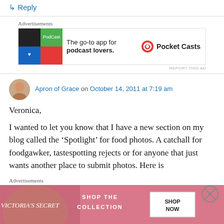↳ Reply
Advertisements
[Figure (infographic): Pocket Casts advertisement: colorful app icon tiles on left, text 'The go-to app for podcast lovers.' and Pocket Casts logo on right]
REPORT THIS AD
Apron of Grace on October 14, 2011 at 7:19 am
Veronica,

I wanted to let you know that I have a new section on my blog called the ‘Spotlight’ for food photos. A catchall for foodgawker, tastespotting rejects or for anyone that just wants another place to submit photos. Here is
Advertisements
[Figure (photo): Victoria's Secret advertisement with model and text 'SHOP THE COLLECTION SHOP NOW']